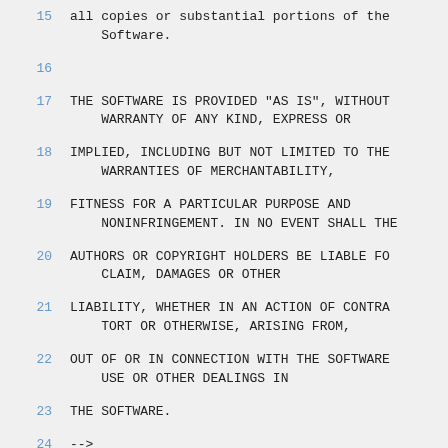15   all copies or substantial portions of the Software.
16
17   THE SOFTWARE IS PROVIDED "AS IS", WITHOUT WARRANTY OF ANY KIND, EXPRESS OR
18   IMPLIED, INCLUDING BUT NOT LIMITED TO THE WARRANTIES OF MERCHANTABILITY,
19   FITNESS FOR A PARTICULAR PURPOSE AND NONINFRINGEMENT. IN NO EVENT SHALL THE
20   AUTHORS OR COPYRIGHT HOLDERS BE LIABLE FOR CLAIM, DAMAGES OR OTHER
21   LIABILITY, WHETHER IN AN ACTION OF CONTRACT, TORT OR OTHERWISE, ARISING FROM,
22   OUT OF OR IN CONNECTION WITH THE SOFTWARE OR USE OR OTHER DEALINGS IN
23   THE SOFTWARE.
24   -->
25   <xs:schema